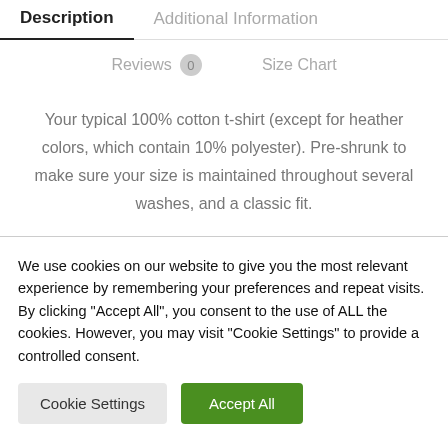Description | Additional Information
Reviews 0   Size Chart
Your typical 100% cotton t-shirt (except for heather colors, which contain 10% polyester). Pre-shrunk to make sure your size is maintained throughout several washes, and a classic fit.
We use cookies on our website to give you the most relevant experience by remembering your preferences and repeat visits. By clicking "Accept All", you consent to the use of ALL the cookies. However, you may visit "Cookie Settings" to provide a controlled consent.
Cookie Settings   Accept All